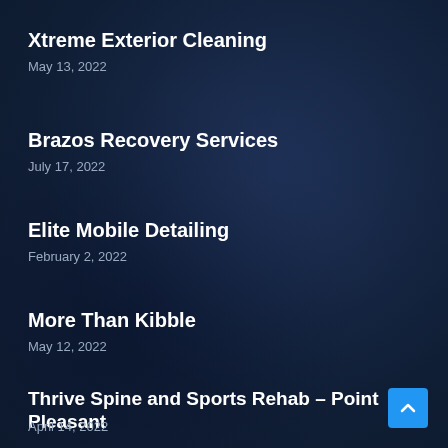Xtreme Exterior Cleaning
May 13, 2022
Brazos Recovery Services
July 17, 2022
Elite Mobile Detailing
February 2, 2022
More Than Kibble
May 12, 2022
Thrive Spine and Sports Rehab – Point Pleasant
April 14, 2022